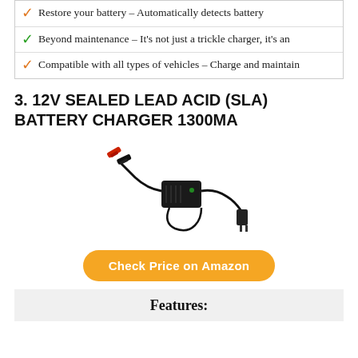✓ Restore your battery – Automatically detects battery
✓ Beyond maintenance – It's not just a trickle charger, it's an
✓ Compatible with all types of vehicles – Charge and maintain
3. 12V SEALED LEAD ACID (SLA) BATTERY CHARGER 1300MA
[Figure (photo): A 12V sealed lead acid battery charger with black rectangular body, red and black alligator clips on one end and a wall plug on the other end, connected by black cables.]
Check Price on Amazon
Features: